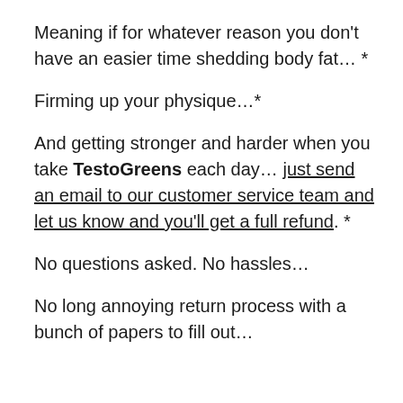Meaning if for whatever reason you don't have an easier time shedding body fat… *
Firming up your physique…*
And getting stronger and harder when you take TestoGreens each day… just send an email to our customer service team and let us know and you'll get a full refund. *
No questions asked. No hassles…
No long annoying return process with a bunch of papers to fill out…